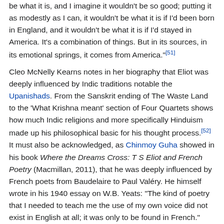be what it is, and I imagine it wouldn't be so good; putting it as modestly as I can, it wouldn't be what it is if I'd been born in England, and it wouldn't be what it is if I'd stayed in America. It's a combination of things. But in its sources, in its emotional springs, it comes from America."[51]
Cleo McNelly Kearns notes in her biography that Eliot was deeply influenced by Indic traditions notable the Upanishads. From the Sanskrit ending of The Waste Land to the 'What Krishna meant' section of Four Quartets shows how much Indic religions and more specifically Hinduism made up his philosophical basic for his thought process.[52] It must also be acknowledged, as Chinmoy Guha showed in his book Where the Dreams Cross: T S Eliot and French Poetry (Macmillan, 2011), that he was deeply influenced by French poets from Baudelaire to Paul Valéry. He himself wrote in his 1940 essay on W.B. Yeats: "The kind of poetry that I needed to teach me the use of my own voice did not exist in English at all; it was only to be found in French." (On Poetry and Poets, 1948)
The Love Song of J. Alfred Prufrock
Main article: The Love Song of J. Alfred Prufrock